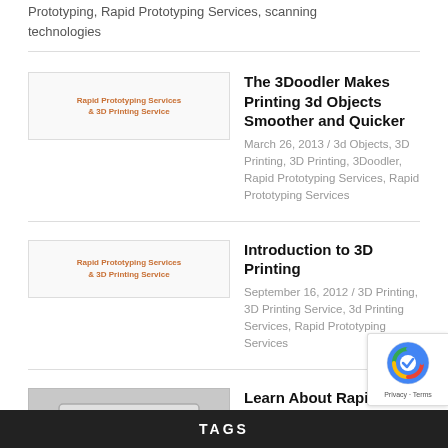Prototyping, Rapid Prototyping Services, scanning technologies
The 3Doodler Makes Printing 3d Objects Smoother and Quicker
March 26, 2013 / 3d Objects, 3D Printing, 3D Printing, 3Doodler, Rapid Prototyping Services, Rapid Prototyping Services
Introduction to 3D Printing
September 16, 2012 / 3D Printing, 3D Printing Service, 3d Printing Services, Rapid Prototyping Services
Learn About Rapid Prototyping Services
August 27, 2012 / 3D Printing, 3D Printing Service, Rapid Prototyping Services
TAGS